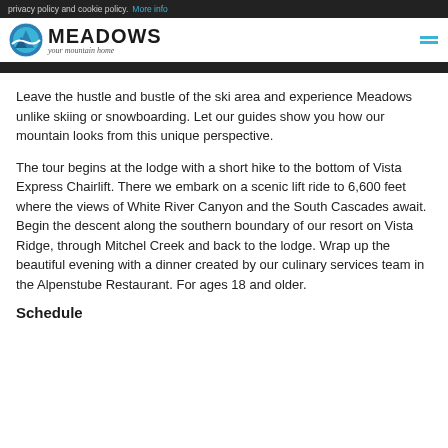privacy policy and cookie policy. More info
[Figure (logo): Meadows ski resort logo with circular mountain icon and tagline 'your mountain home']
Leave the hustle and bustle of the ski area and experience Meadows unlike skiing or snowboarding. Let our guides show you how our mountain looks from this unique perspective.
The tour begins at the lodge with a short hike to the bottom of Vista Express Chairlift. There we embark on a scenic lift ride to 6,600 feet where the views of White River Canyon and the South Cascades await. Begin the descent along the southern boundary of our resort on Vista Ridge, through Mitchel Creek and back to the lodge. Wrap up the beautiful evening with a dinner created by our culinary services team in the Alpenstube Restaurant. For ages 18 and older.
Schedule